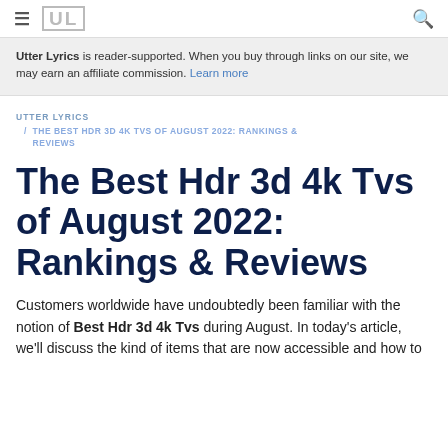≡  UL  🔍
Utter Lyrics is reader-supported. When you buy through links on our site, we may earn an affiliate commission. Learn more
UTTER LYRICS / THE BEST HDR 3D 4K TVS OF AUGUST 2022: RANKINGS & REVIEWS
The Best Hdr 3d 4k Tvs of August 2022: Rankings & Reviews
Customers worldwide have undoubtedly been familiar with the notion of Best Hdr 3d 4k Tvs during August. In today's article, we'll discuss the kind of items that are now accessible and how to